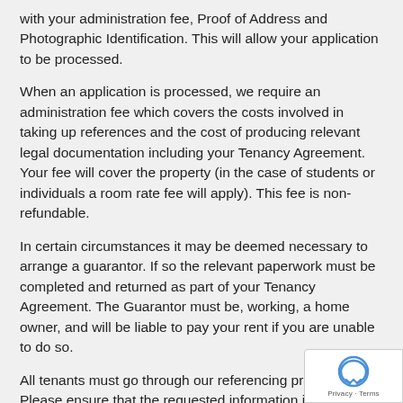with your administration fee, Proof of Address and Photographic Identification. This will allow your application to be processed.
When an application is processed, we require an administration fee which covers the costs involved in taking up references and the cost of producing relevant legal documentation including your Tenancy Agreement. Your fee will cover the property (in the case of students or individuals a room rate fee will apply). This fee is non-refundable.
In certain circumstances it may be deemed necessary to arrange a guarantor. If so the relevant paperwork must be completed and returned as part of your Tenancy Agreement. The Guarantor must be, working, a home owner, and will be liable to pay your rent if you are unable to do so.
All tenants must go through our referencing process. Please ensure that the requested information is disclosed, as with information may seriously affect your application. Draft application forms are available on request.